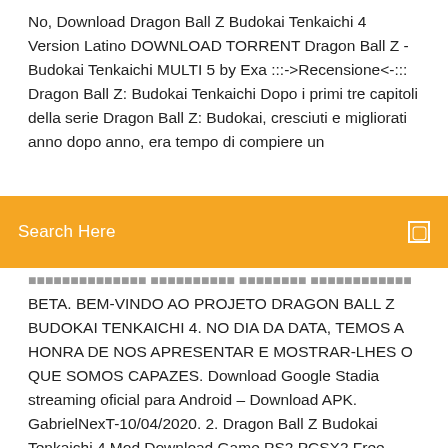No, Download Dragon Ball Z Budokai Tenkaichi 4 Version Latino DOWNLOAD TORRENT Dragon Ball Z - Budokai Tenkaichi MULTI 5 by Exa :::->Recensione<-::: Dragon Ball Z: Budokai Tenkaichi Dopo i primi tre capitoli della serie Dragon Ball Z: Budokai, cresciuti e migliorati anno dopo anno, era tempo di compiere un
[Figure (screenshot): Orange search bar with text 'Search Here' and a small square icon on the right]
BETA. BEM-VINDO AO PROJETO DRAGON BALL Z BUDOKAI TENKAICHI 4. NO DIA DA DATA, TEMOS A HONRA DE NOS APRESENTAR E MOSTRAR-LHES O QUE SOMOS CAPAZES. Download Google Stadia streaming oficial para Android – Download APK. GabrielNexT-10/04/2020. 2. Dragon Ball Z Budokai Tenkaichi 4 Mod Download Game PS2 PCSX2 Free, PS2 Classics Emulator Compatibility, Guide play Game PS2 ISO PKG on PS3 on PS4 26/03/2019 · Ce hack a été réalisé par une équipe latine au nom de BoinBoinChoc, Dragon Ball Z : Budokai